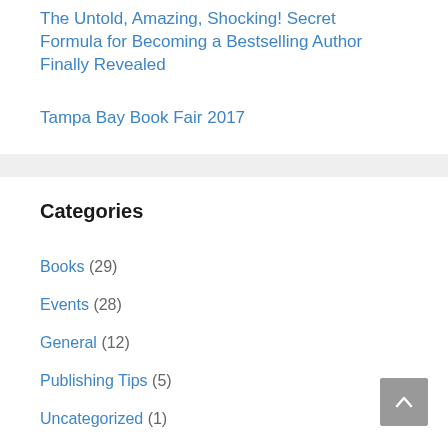The Untold, Amazing, Shocking! Secret Formula for Becoming a Bestselling Author Finally Revealed
Tampa Bay Book Fair 2017
Categories
Books (29)
Events (28)
General (12)
Publishing Tips (5)
Uncategorized (1)